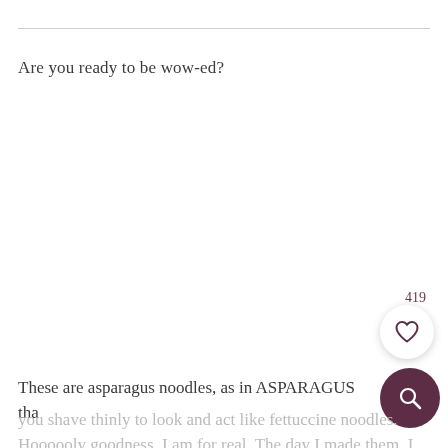Are you ready to be wow-ed?
419
These are asparagus noodles, as in ASPARAGUS that you shave thinly to look and act like fettuccine noodles. Hoooooly goodness. I am for real. The day I made them, I literally could not stop raving about it. Is all of...